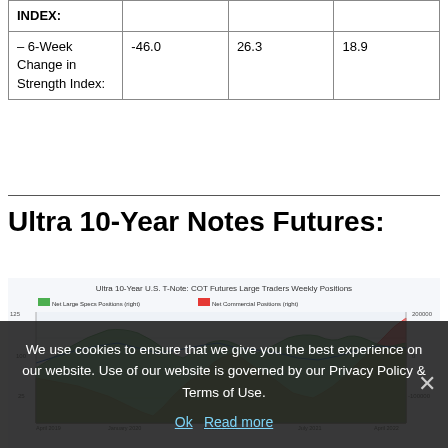|  |  |  |  |
| --- | --- | --- | --- |
| INDEX: |  |  |  |
| – 6-Week Change in Strength Index: | -46.0 | 26.3 | 18.9 |
Ultra 10-Year Notes Futures:
[Figure (continuous-plot): Area/line chart showing Net Large Specs Positions (right, green area) and Net Commercial Positions (right, red area) with a blue line overlay, spanning approximately April 2019 to April 2022. Y-axis right shows values around 200000 to -100000.]
We use cookies to ensure that we give you the best experience on our website. Use of our website is governed by our Privacy Policy & Terms of Use.